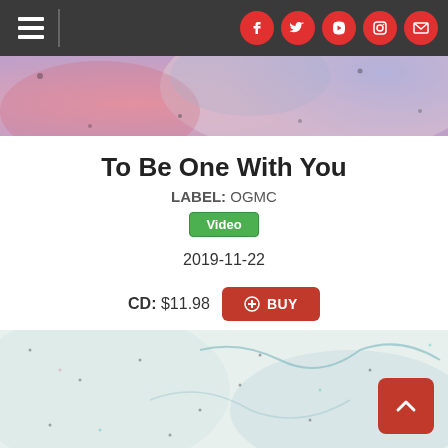Navigation bar with hamburger menu and social icons (Facebook, Twitter, YouTube, Instagram, Email)
[Figure (photo): Abstract pink/purple/blue artistic banner image]
To Be One With You
LABEL: OGMC
Video
2019-11-22
CD: $11.98 BUY
MP3 Album: $9.99 DOWNLOAD
[Figure (photo): Abstract light teal/white/pink artistic image with scattered dark dots and blue streaks]